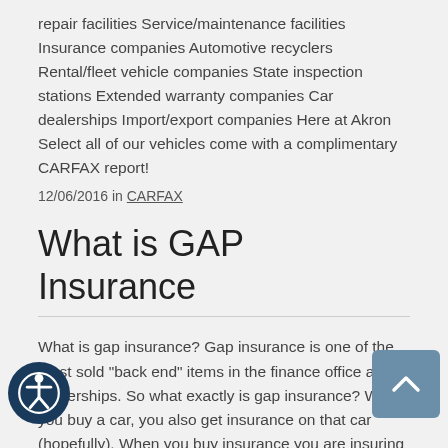repair facilities Service/maintenance facilities Insurance companies Automotive recyclers Rental/fleet vehicle companies State inspection stations Extended warranty companies Car dealerships Import/export companies Here at Akron Select all of our vehicles come with a complimentary CARFAX report!
12/06/2016 in CARFAX
What is GAP Insurance
What is gap insurance? Gap insurance is one of the most sold "back end" items in the finance office at car dealerships. So what exactly is gap insurance? When you buy a car, you also get insurance on that car (hopefully). When you buy insurance you are insuring a specific vehicle, not a set dollar amount. That's an important distinction. If your car is worth $15,000, you paid $14,000 but financed your taxes, fees and had